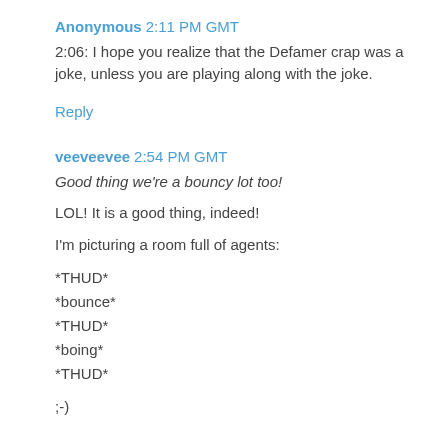Anonymous  2:11 PM GMT
2:06: I hope you realize that the Defamer crap was a joke, unless you are playing along with the joke.
Reply
veeveevee  2:54 PM GMT
Good thing we're a bouncy lot too!
LOL! It is a good thing, indeed!
I'm picturing a room full of agents:
*THUD*
*bounce*
*THUD*
*boing*
*THUD*
;-)